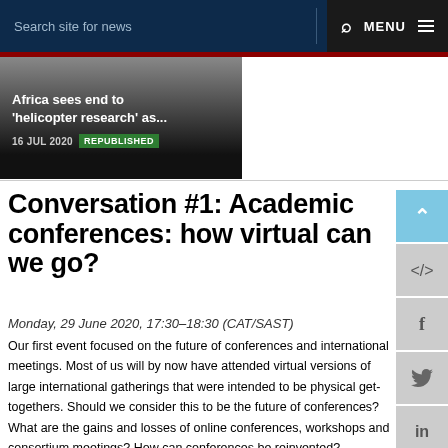Search site for news   Q   MENU
[Figure (screenshot): Featured article banner with dark gradient background showing article title 'Africa sees end to helicopter research as...' with date 16 JUL 2020 and REPUBLISHED badge]
Conversation #1: Academic conferences: how virtual can we go?
Monday, 29 June 2020, 17:30–18:30 (CAT/SAST)
Our first event focused on the future of conferences and international meetings. Most of us will by now have attended virtual versions of large international gatherings that were intended to be physical get-togethers. Should we consider this to be the future of conferences? What are the gains and losses of online conferences, workshops and consortium meetings? How can conferences be reinvented?